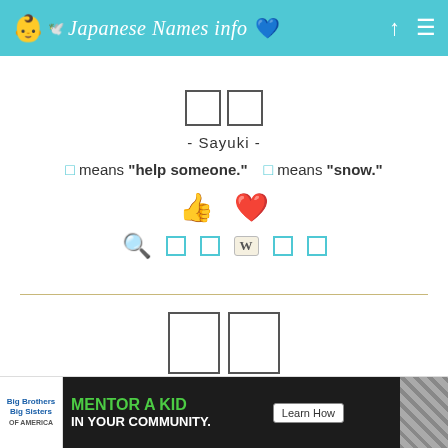Japanese Names info
[Figure (illustration): Two empty kanji character boxes for Sayuki]
- Sayuki -
□ means "help someone."   □ means "snow."
[Figure (illustration): Thumbs up and heart icons for liking]
[Figure (illustration): Search, kanji detail, Wikipedia, and link tool icons]
[Figure (illustration): Two large empty kanji character boxes for Sayuki second variant]
- Sayuki -
□ means "luck."   □ means "snow."
[Figure (illustration): Thumbs up and heart icons (partially visible)]
[Figure (infographic): Big Brothers Big Sisters advertisement banner - Mentor a Kid in Your Community]